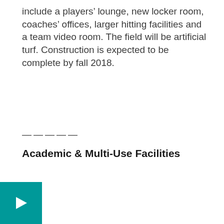include a players' lounge, new locker room, coaches' offices, larger hitting facilities and a team video room. The field will be artificial turf. Construction is expected to be complete by fall 2018.
Academic & Multi-Use Facilities